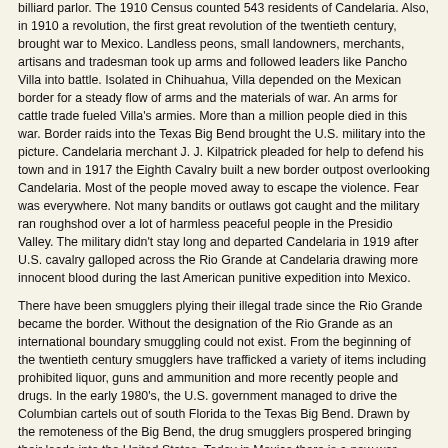billiard parlor. The 1910 Census counted 543 residents of Candelaria. Also, in 1910 a revolution, the first great revolution of the twentieth century, brought war to Mexico. Landless peons, small landowners, merchants, artisans and tradesman took up arms and followed leaders like Pancho Villa into battle. Isolated in Chihuahua, Villa depended on the Mexican border for a steady flow of arms and the materials of war. An arms for cattle trade fueled Villa's armies. More than a million people died in this war. Border raids into the Texas Big Bend brought the U.S. military into the picture. Candelaria merchant J. J. Kilpatrick pleaded for help to defend his town and in 1917 the Eighth Cavalry built a new border outpost overlooking Candelaria. Most of the people moved away to escape the violence. Fear was everywhere. Not many bandits or outlaws got caught and the military ran roughshod over a lot of harmless peaceful people in the Presidio Valley. The military didn't stay long and departed Candelaria in 1919 after U.S. cavalry galloped across the Rio Grande at Candelaria drawing more innocent blood during the last American punitive expedition into Mexico.
There have been smugglers plying their illegal trade since the Rio Grande became the border. Without the designation of the Rio Grande as an international boundary smuggling could not exist. From the beginning of the twentieth century smugglers have trafficked a variety of items including prohibited liquor, guns and ammunition and more recently people and drugs. In the early 1980's, the U.S. government managed to drive the Columbian cartels out of south Florida to the Texas Big Bend. Drawn by the remoteness of the Big Bend, the drug smugglers prospered bringing their loads into the United States. Today in Mexico there is a new war being fought. The drug war is fueled by an arms for drug trade.
As the Mexican drug lords struggle to control their turf across the river, a wave of immigration has come to the forefront of American politics. Again we hear calls to militarize and close the border. Some demand a wall be built between the United States and Mexico. It's a simple but poorly thought out solution to a very complex issue. Just recently a powerful someone in Washington found out about that Candelaria still has a bridge and ordered it immediately removed. Few have really considered the impact of tearing it down. When the Border Patrol closed the crossing at Lajitas a few years ago, the action resulted in the economic death of Paso Lajitas the little village just across the river. Tourists no long came, the restaurants went out of business and the school closed. There was no work for anyone, the people moved away, and the town became abandoned. Today there are no watchful eyes of good people living there and the smugglers have the perfect vantage point watch the Border Patrol, coming and going across their river.